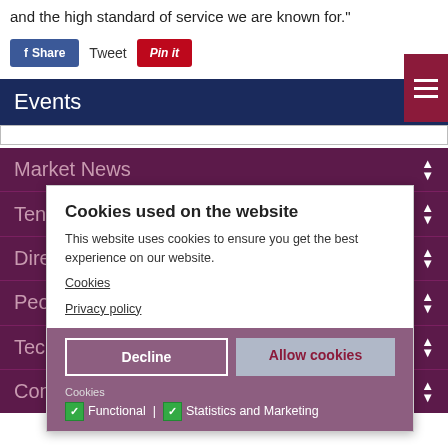and the high standard of service we are known for."
[Figure (screenshot): Social sharing buttons: Facebook Share button (blue), Tweet text link, and Pinterest Pin It button (red)]
Events
Market News
Tenders and Instructions
Directories
People
Technology
Comment and Analysis
[Figure (screenshot): Cookie consent modal overlay with title 'Cookies used on the website', description text, Decline and Allow cookies buttons, and Functional | Statistics and Marketing checkboxes]